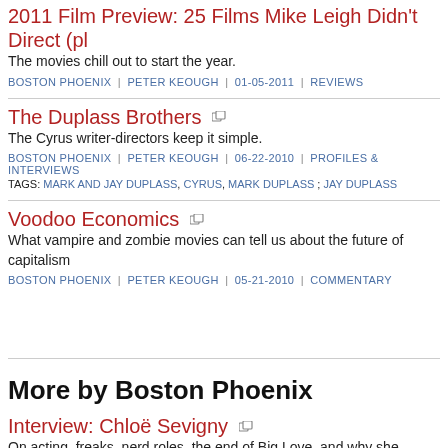2011 Film Preview: 25 Films Mike Leigh Didn't Direct (pl...
The movies chill out to start the year.
BOSTON PHOENIX | PETER KEOUGH | 01-05-2011 | REVIEWS
The Duplass Brothers
The Cyrus writer-directors keep it simple.
BOSTON PHOENIX | PETER KEOUGH | 06-22-2010 | PROFILES & INTERVIEWS
TAGS: MARK AND JAY DUPLASS, CYRUS, MARK DUPLASS ; JAY DUPLASS
Voodoo Economics
What vampire and zombie movies can tell us about the future of capitalism...
BOSTON PHOENIX | PETER KEOUGH | 05-21-2010 | COMMENTARY
More by Boston Phoenix
Interview: Chloë Sevigny
On acting, freaks, nerd roles, the end of Big Love, and why she doesn't wa... than she is
BOSTON PHOENIX | CAMILLE DODERO | 01-14-2011 | PROFILES & INTERVIEWS
TAGS: BIG LOVE, HBO, NICKI GRANT, PAULY D, WILL SCHEFFER